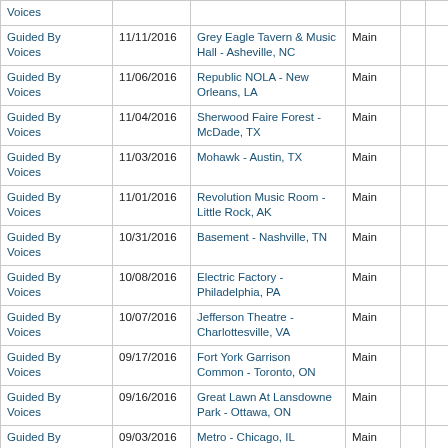| Voices |  |  |  |  |  |
| Guided By Voices | 11/11/2016 | Grey Eagle Tavern & Music Hall - Asheville, NC | Main |  |  |
| Guided By Voices | 11/06/2016 | Republic NOLA - New Orleans, LA | Main |  |  |
| Guided By Voices | 11/04/2016 | Sherwood Faire Forest - McDade, TX | Main |  |  |
| Guided By Voices | 11/03/2016 | Mohawk - Austin, TX | Main |  |  |
| Guided By Voices | 11/01/2016 | Revolution Music Room - Little Rock, AK | Main |  |  |
| Guided By Voices | 10/31/2016 | Basement - Nashville, TN | Main |  |  |
| Guided By Voices | 10/08/2016 | Electric Factory - Philadelphia, PA | Main |  |  |
| Guided By Voices | 10/07/2016 | Jefferson Theatre - Charlottesville, VA | Main |  |  |
| Guided By Voices | 09/17/2016 | Fort York Garrison Common - Toronto, ON | Main |  |  |
| Guided By Voices | 09/16/2016 | Great Lawn At Lansdowne Park - Ottawa, ON | Main |  |  |
| Guided By Voices | 09/03/2016 | Metro - Chicago, IL | Main |  |  |
| Guided By Voices | 09/01/2016 | Turner Hall Ballroom (At Pabst Theater) - Milwaukee, WI | Main |  |  |
| Guided By Voices | 08/31/2016 | First Avenue - Minneapolis, MN | Main |  |  |
| Guided By Voices | 08/27/2016 | Crystal Ballroom - Portland, OR | Main |  |  |
| Guided By Voices | 08/26/2016 | Neumos - Seattle, WA | Main |  |  |
| Guided By ... | 08/23/2016 | Independent - San Francisco ... | Main |  |  |